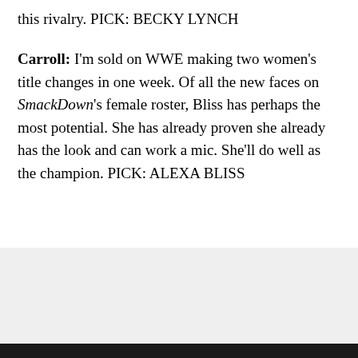this rivalry. PICK: BECKY LYNCH
Carroll: I'm sold on WWE making two women's title changes in one week. Of all the new faces on SmackDown's female roster, Bliss has perhaps the most potential. She has already proven she already has the look and can work a mic. She'll do well as the champion. PICK: ALEXA BLISS